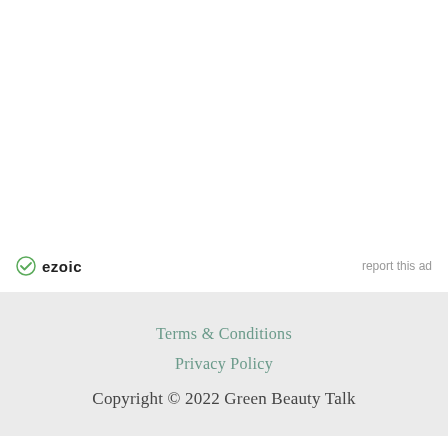[Figure (logo): Ezoic logo with green circle checkmark icon and bold 'ezoic' text in black]
report this ad
Terms & Conditions
Privacy Policy
Copyright © 2022 Green Beauty Talk